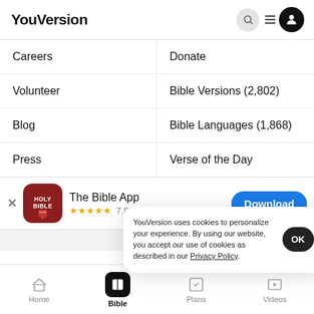YouVersion
Careers
Donate
Volunteer
Bible Versions (2,802)
Blog
Bible Languages (1,868)
Press
Verse of the Day
[Figure (screenshot): App store banner for The Bible App with Holy Bible icon, 5 stars, 7.9M ratings, and a Download button]
YouVersion uses cookies to personalize your experience. By using our website, you accept our use of cookies as described in our Privacy Policy.
Home | Bible | Plans | Videos